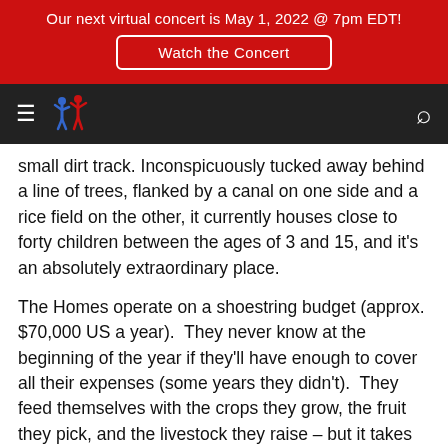Our next virtual concert is May 1, 2022 @ 7pm EDT!
Watch the Concert
[Figure (logo): Navigation bar with hamburger menu, organization logo (figures in red and blue), and search icon on dark background]
small dirt track. Inconspicuously tucked away behind a line of trees, flanked by a canal on one side and a rice field on the other, it currently houses close to forty children between the ages of 3 and 15, and it's an absolutely extraordinary place.
The Homes operate on a shoestring budget (approx. $70,000 US a year).  They never know at the beginning of the year if they'll have enough to cover all their expenses (some years they didn't).  They feed themselves with the crops they grow, the fruit they pick, and the livestock they raise – but it takes just a moment's glance to see how well the children are cared for in this tightly-knit community. Not withstanding the presence of adults t—